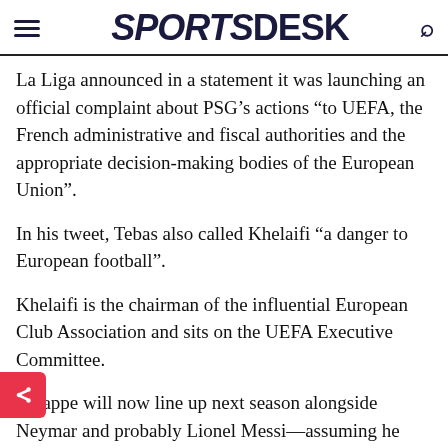SPORTSDESK
La Liga announced in a statement it was launching an official complaint about PSG’s actions “to UEFA, the French administrative and fiscal authorities and the appropriate decision-making bodies of the European Union”.
In his tweet, Tebas also called Khelaifi “a danger to European football”.
Khelaifi is the chairman of the influential European Club Association and sits on the UEFA Executive Committee.
Mbappe will now line up next season alongside Neymar and probably Lionel Messi—assuming he stays at the club—to help PSG in their protracted